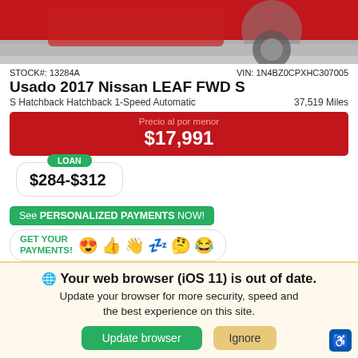[Figure (photo): Partial view of a red car (Nissan LEAF) photographed from the side/rear, showing the wheel and lower body against a gray surface.]
STOCK#: 13284A    VIN: 1N4BZ0CPXHC307005
Usado 2017 Nissan LEAF FWD S
S Hatchback Hatchback 1-Speed Automatic    37,519 Miles
Precio al por menor
$17,991
LOAN
$284-$312
See PERSONALIZED PAYMENTS NOW!
GET YOUR PAYMENTS! 😍 👍 👋 💤 🤔 😂
Your web browser (iOS 11) is out of date.
Update your browser for more security, speed and the best experience on this site.
Update browser    Ignore